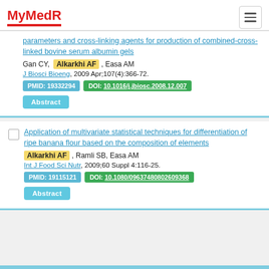MyMedR
parameters and cross-linking agents for production of combined-cross-linked bovine serum albumin gels
Gan CY, Alkarkhi AF, Easa AM
J Biosci Bioeng, 2009 Apr;107(4):366-72.
PMID: 19332294 | DOI: 10.1016/j.jbiosc.2008.12.007
Abstract
Application of multivariate statistical techniques for differentiation of ripe banana flour based on the composition of elements
Alkarkhi AF, Ramli SB, Easa AM
Int J Food Sci Nutr, 2009;60 Suppl 4:116-25.
PMID: 19115121 | DOI: 10.1080/09637480802609368
Abstract